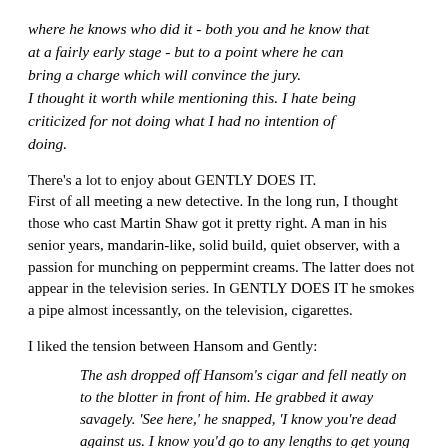where he knows who did it - both you and he know that at a fairly early stage - but to a point where he can bring a charge which will convince the jury. I thought it worth while mentioning this. I hate being criticized for not doing what I had no intention of doing.
There's a lot to enjoy about GENTLY DOES IT. First of all meeting a new detective. In the long run, I thought those who cast Martin Shaw got it pretty right. A man in his senior years, mandarin-like, solid build, quiet observer, with a passion for munching on peppermint creams. The latter does not appear in the television series. In GENTLY DOES IT he smokes a pipe almost incessantly, on the television, cigarettes.
I liked the tension between Hansom and Gently:
The ash dropped off Hansom's cigar and fell neatly on to the blotter in front of him. He grabbed it away savagely. 'See here,' he snapped, 'I know you're dead against us. I know you'd go to any lengths to get young Huysmann off, even if you're as sure as we are that he